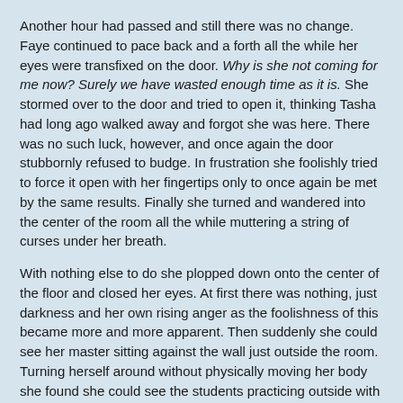Another hour had passed and still there was no change. Faye continued to pace back and a forth all the while her eyes were transfixed on the door. Why is she not coming for me now? Surely we have wasted enough time as it is. She stormed over to the door and tried to open it, thinking Tasha had long ago walked away and forgot she was here. There was no such luck, however, and once again the door stubbornly refused to budge. In frustration she foolishly tried to force it open with her fingertips only to once again be met by the same results. Finally she turned and wandered into the center of the room all the while muttering a string of curses under her breath.
With nothing else to do she plopped down onto the center of the floor and closed her eyes. At first there was nothing, just darkness and her own rising anger as the foolishness of this became more and more apparent. Then suddenly she could see her master sitting against the wall just outside the room. Turning herself around without physically moving her body she found she could see the students practicing outside with their instructors. Is this for real? Or am I imagining it? Concentrating even harder she allowed herself to float freely through the temple, passing from room to room and class to class. She saw many things, the young girl from the day before once again leading a group of students in meditation, Renning overseeing the placement of padawans with masters and Devon Vos working at his desk. She even saw herself sitting alone in the room in meditation and when she looked up the door finally opened.